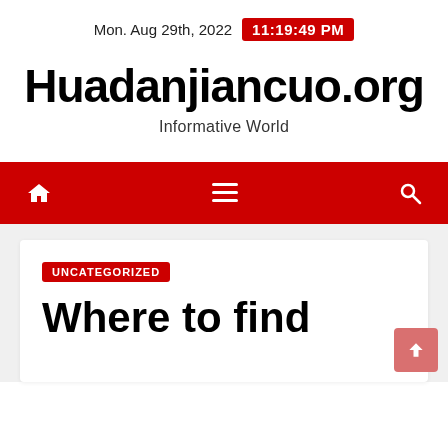Mon. Aug 29th, 2022  11:19:49 PM
Huadanjiancuo.org
Informative World
[Figure (other): Red navigation bar with home icon, hamburger menu icon, and search icon]
UNCATEGORIZED
Where to find